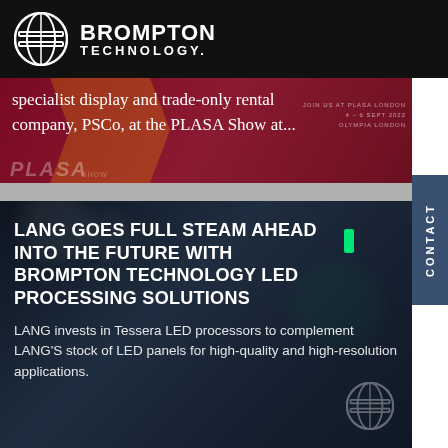BROMPTON TECHNOLOGY
[Figure (screenshot): PLASA show banner with dark red background showing text about specialist display and trade-only rental company PSCo at the PLASA Show]
specialist display and trade-only rental company, PSCo, at the PLASA Show at...
LANG GOES FULL STEAM AHEAD INTO THE FUTURE WITH BROMPTON TECHNOLOGY LED PROCESSING SOLUTIONS
LANG invests in Tessera LED processors to complement LANG'S stock of LED panels for high-quality and high-resolution applications.